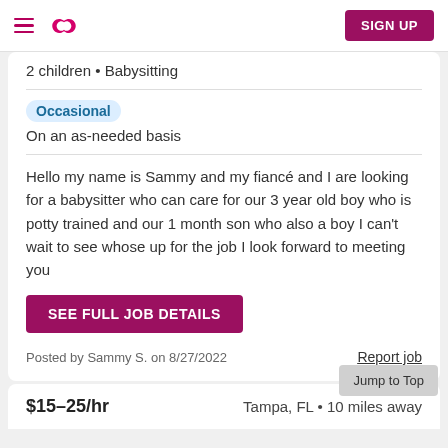Sittercity navigation header with SIGN UP button
2 children • Babysitting
Occasional
On an as-needed basis
Hello my name is Sammy and my fiancé and I are looking for a babysitter who can care for our 3 year old boy who is potty trained and our 1 month son who also a boy I can't wait to see whose up for the job I look forward to meeting you
SEE FULL JOB DETAILS
Posted by Sammy S. on 8/27/2022
Report job
$15–25/hr
Tampa, FL • 10 miles away